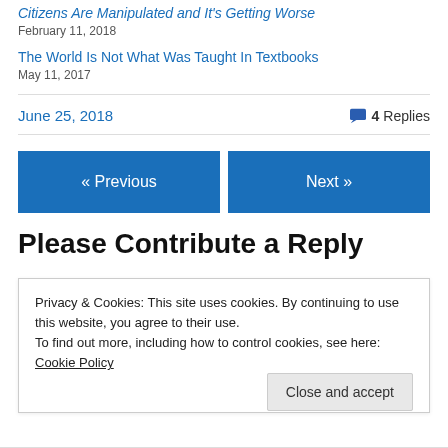Citizens Are Manipulated and It's Getting Worse
February 11, 2018
The World Is Not What Was Taught In Textbooks
May 11, 2017
June 25, 2018
4 Replies
« Previous
Next »
Please Contribute a Reply
Privacy & Cookies: This site uses cookies. By continuing to use this website, you agree to their use.
To find out more, including how to control cookies, see here: Cookie Policy
Close and accept